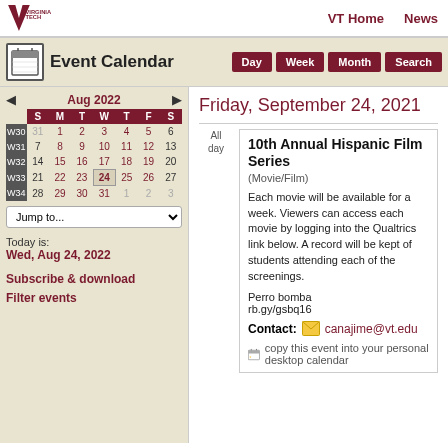VT Home   News
Event Calendar
[Figure (screenshot): Virginia Tech event calendar web page showing mini calendar for Aug 2022 and event detail for Friday, September 24, 2021 - 10th Annual Hispanic Film Series]
Friday, September 24, 2021
10th Annual Hispanic Film Series
(Movie/Film)

Each movie will be available for a week. Viewers can access each movie by logging into the Qualtrics link below. A record will be kept of students attending each of the screenings.

Perro bomba
rb.gy/gsbq16
Contact: canajime@vt.edu
copy this event into your personal desktop calendar
Today is:
Wed, Aug 24, 2022
Subscribe & download
Filter events